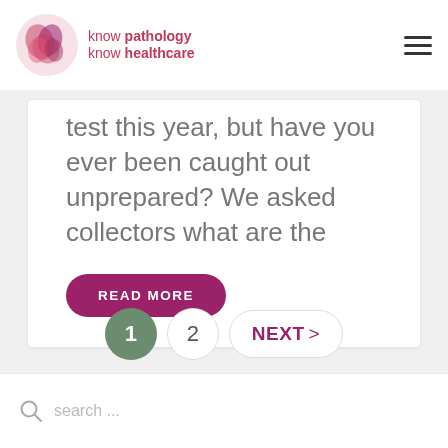know pathology know healthcare
test this year, but have you ever been caught out unprepared? We asked collectors what are the
READ MORE
1  2  NEXT >
search ...